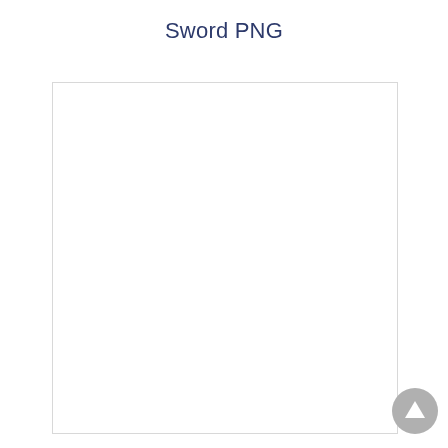Sword PNG
[Figure (other): Empty white image placeholder box with a light gray border, representing a Sword PNG image area that is blank/not loaded.]